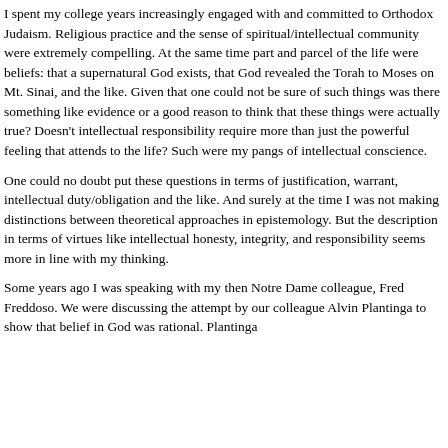I spent my college years increasingly engaged with and committed to Orthodox Judaism. Religious practice and the sense of spiritual/intellectual community were extremely compelling. At the same time part and parcel of the life were beliefs: that a supernatural God exists, that God revealed the Torah to Moses on Mt. Sinai, and the like. Given that one could not be sure of such things was there something like evidence or a good reason to think that these things were actually true? Doesn't intellectual responsibility require more than just the powerful feeling that attends to the life? Such were my pangs of intellectual conscience.
One could no doubt put these questions in terms of justification, warrant, intellectual duty/obligation and the like. And surely at the time I was not making distinctions between theoretical approaches in epistemology. But the description in terms of virtues like intellectual honesty, integrity, and responsibility seems more in line with my thinking.
Some years ago I was speaking with my then Notre Dame colleague, Fred Freddoso. We were discussing the attempt by our colleague Alvin Plantinga to show that belief in God was rational. Plantinga